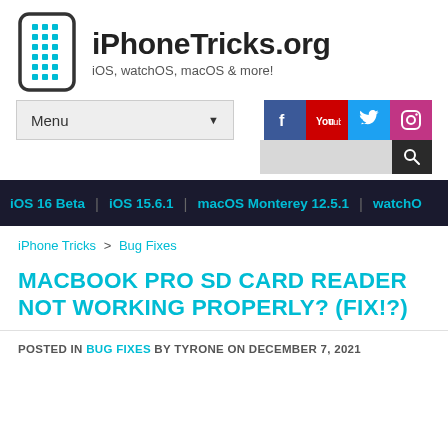iPhoneTricks.org — iOS, watchOS, macOS & more!
[Figure (logo): iPhoneTricks.org logo with smartphone icon and site name]
Menu
[Figure (infographic): Social media icons: Facebook, YouTube, Twitter, Instagram]
iOS 16 Beta | iOS 15.6.1 | macOS Monterey 12.5.1 | watchO...
iPhone Tricks > Bug Fixes
MACBOOK PRO SD CARD READER NOT WORKING PROPERLY? (FIX!?)
POSTED IN BUG FIXES BY TYRONE ON DECEMBER 7, 2021